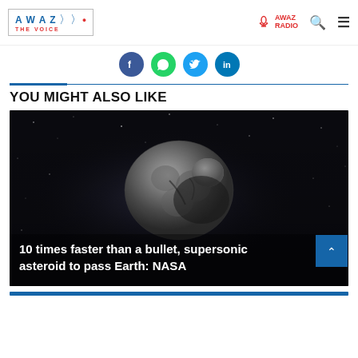AWAZ THE VOICE | AWAZ RADIO
[Figure (logo): AWAZ The Voice logo with wave symbol]
[Figure (infographic): Social share icons: Facebook, WhatsApp, Twitter, LinkedIn]
YOU MIGHT ALSO LIKE
[Figure (photo): Asteroid in space against dark background with overlay text: 10 times faster than a bullet, supersonic asteroid to pass Earth: NASA]